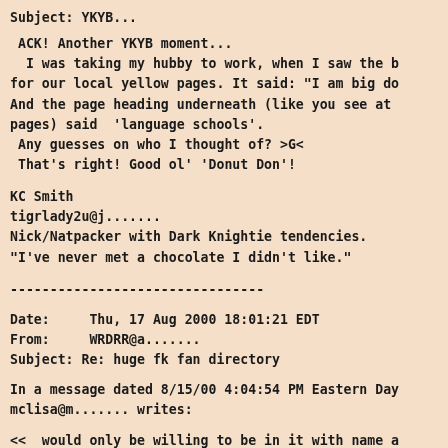Subject: YKYB...
ACK! Another YKYB moment...
  I was taking my hubby to work, when I saw the b
for our local yellow pages. It said: "I am big do
And the page heading underneath (like you see at
pages) said  'language schools'.
 Any guesses on who I thought of? >G<
 That's right! Good ol' 'Donut Don'!
KC Smith
tigrlady2u@j.......
Nick/Natpacker with Dark Knightie tendencies.
"I've never met a chocolate I didn't like."
--------------------------------
Date:     Thu, 17 Aug 2000 18:01:21 EDT
From:     WRDRR@a.......
Subject: Re: huge fk fan directory
In a message dated 8/15/00 4:04:54 PM Eastern Day
mclisa@m....... writes:
<<  would only be willing to be in it with name a
 know where I live or am about to live as far as